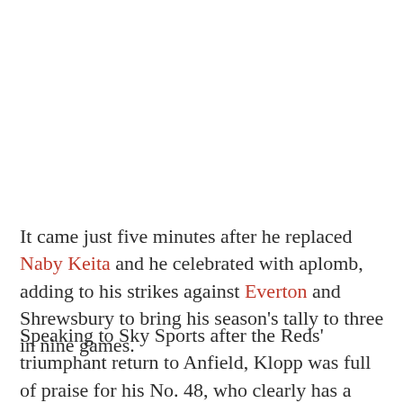It came just five minutes after he replaced Naby Keita and he celebrated with aplomb, adding to his strikes against Everton and Shrewsbury to bring his season's tally to three in nine games.
Speaking to Sky Sports after the Reds' triumphant return to Anfield, Klopp was full of praise for his No. 48, who clearly has a bright future ahead of him at the club.